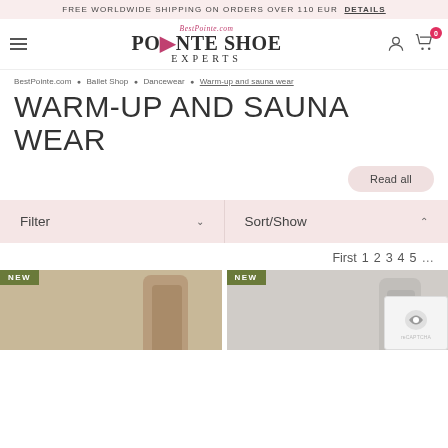FREE WORLDWIDE SHIPPING ON ORDERS OVER 110 EUR DETAILS
[Figure (logo): BestPointe.com Pointe Shoe Experts logo with pink dancer silhouette]
BestPointe.com • Ballet Shop • Dancewear • Warm-up and sauna wear
WARM-UP AND SAUNA WEAR
Read all
Filter ∨   Sort/Show ∧
First 1 2 3 4 5 …
[Figure (photo): Product card with NEW badge showing a dancer model in warm-up wear, olive green badge, tan background]
[Figure (photo): Product card with NEW badge showing a dancer model in warm-up wear, olive green badge, grey background]